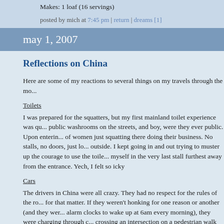Makes: 1 loaf (16 servings)
posted by mich at 7:45 pm | return | dreams [1]
may 1, 2007
Reflections on China
Here are some of my reactions to several things on my travels through the mo...
Toilets
I was prepared for the squatters, but my first mainland toilet experience was qu... public washrooms on the streets, and boy, were they ever public. Upon enterin... of women just squatting there doing their business. No stalls, no doors, just lo... outside. I kept going in and out trying to muster up the courage to use the toile... myself in the very last stall furthest away from the entrance. Yech, I felt so icky
Cars
The drivers in China were all crazy. They had no respect for the rules of the ro... for that matter. If they weren't honking for one reason or another (and they wer... alarm clocks to wake up at 6am every morning), they were charging through c... crossing an intersection on a pedestrian walk signal, you still have to watch ou... otherwise you'll most definitely get run over. The most appalling thing to me wa... anything, not even ambulances in emergency. I couldn't believe my eyes while... crawl its way through an intersection for 5 minutes while all the crisscrossing tr... I guess the only privilege you get from using sirens is not being honked at for c...